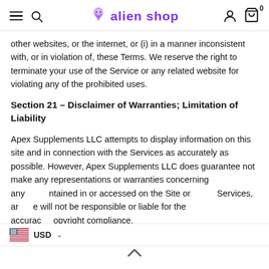alien shop
other websites, or the internet, or (i) in a manner inconsistent with, or in violation of, these Terms. We reserve the right to terminate your use of the Service or any related website for violating any of the prohibited uses.
Section 21 – Disclaimer of Warranties; Limitation of Liability
Apex Supplements LLC attempts to display information on this site and in connection with the Services as accurately as possible. However, Apex Supplements LLC does guarantee not make any representations or warranties concerning any ntained in or accessed on the Site or Services, ar e will not be responsible or liable for the accurac opyright compliance, legality, or decency of material contained in or